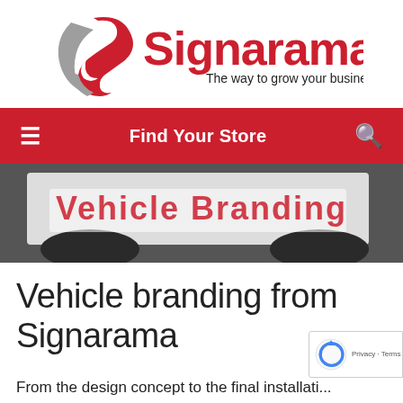[Figure (logo): Signarama logo with stylized S mark and tagline 'The way to grow your business.']
Find Your Store
[Figure (photo): Close-up photo of vehicle branding/wrap on a white vehicle, showing partial red text that reads 'Vehicle Branding']
Vehicle branding from Signarama
From the design concept to the final installati...